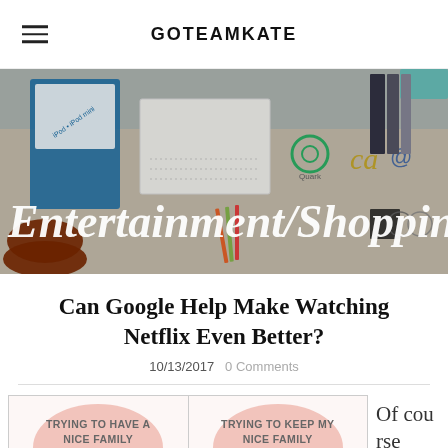GOTEAMKATE
[Figure (photo): Flatlay photo of a desk with iPod/iPad mini boxes, notebooks, pencils, and design logo stickers including Quark and others. Large italic white text overlaid: 'Entertainment/Shopping']
Can Google Help Make Watching Netflix Even Better?
10/13/2017   0 Comments
[Figure (photo): Two-panel meme image. Left panel: pink bubble text 'TRYING TO HAVE A NICE FAMILY MOMENT WATCHING...' Right panel: pink bubble text 'TRYING TO KEEP MY NICE FAMILY MOMENT WATCHING...']
Of course